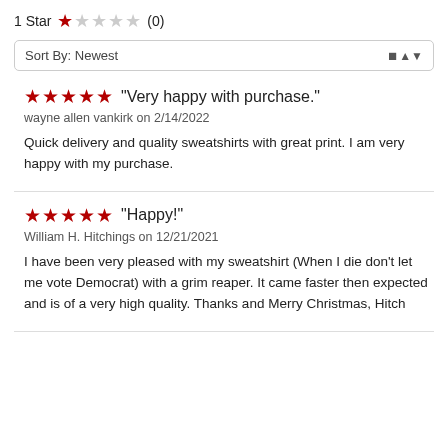1 Star ★☆☆☆☆ (0)
Sort By: Newest
★★★★★ "Very happy with purchase."
wayne allen vankirk on 2/14/2022
Quick delivery and quality sweatshirts with great print. I am very happy with my purchase.
★★★★★ "Happy!"
William H. Hitchings on 12/21/2021
I have been very pleased with my sweatshirt (When I die don't let me vote Democrat) with a grim reaper. It came faster then expected and is of a very high quality. Thanks and Merry Christmas, Hitch